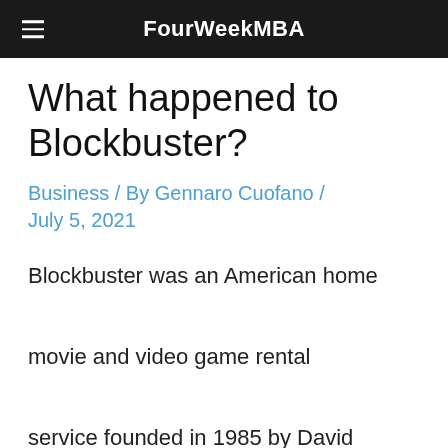FourWeekMBA
What happened to Blockbuster?
Business / By Gennaro Cuofano / July 5, 2021
Blockbuster was an American home movie and video game rental service founded in 1985 by David Cook. By the 1990s the company